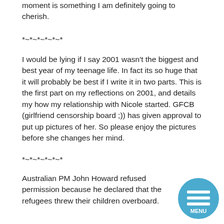moment is something I am definitely going to cherish.
*~*~*~*~*~*
I would be lying if I say 2001 wasn't the biggest and best year of my teenage life. In fact its so huge that it will probably be best if I write it in two parts. This is the first part on my reflections on 2001, and details my how my relationship with Nicole started. GFCB (girlfriend censorship board ;)) has given approval to put up pictures of her. So please enjoy the pictures before she changes her mind.
*~*~*~*~*~*
Australian PM John Howard refused permission because he declared that the refugees threw their children overboard.